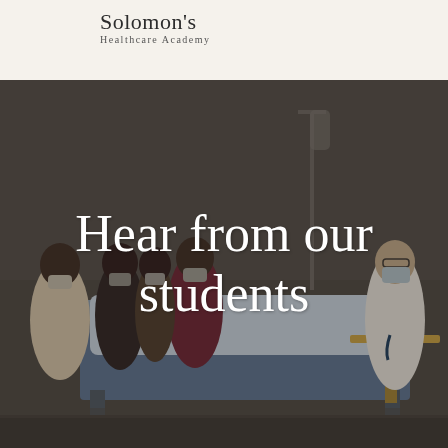Solomon's Healthcare Academy
[Figure (photo): Healthcare classroom scene showing students in masks gathered around a hospital bed with a medical mannequin, being instructed by a teacher in a white lab coat and mask.]
Hear from our students